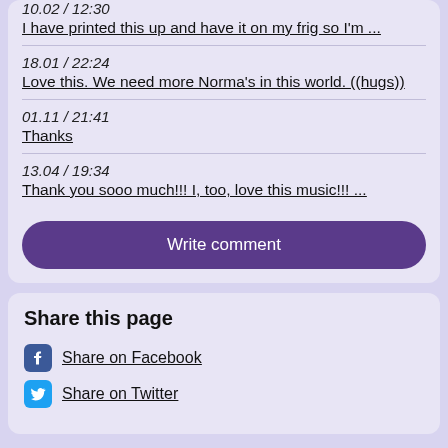10.02 / 12:30
I have printed this up and have it on my frig so I'm ...
18.01 / 22:24
Love this. We need more Norma's in this world. ((hugs))
01.11 / 21:41
Thanks
13.04 / 19:34
Thank you sooo much!!! I, too, love this music!!! ...
Write comment
Share this page
Share on Facebook
Share on Twitter